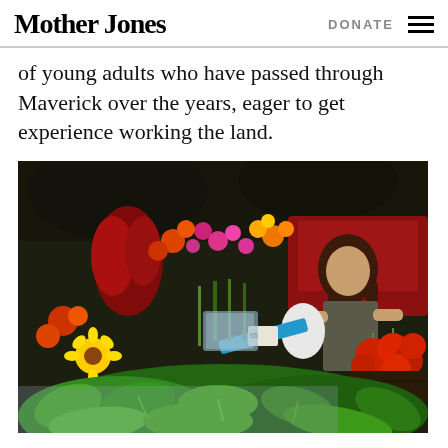Mother Jones | DONATE
of young adults who have passed through Maverick over the years, eager to get experience working the land.
[Figure (photo): A woman working at a farmers market stand with colorful flowers, basil, and tomatoes in the foreground.]